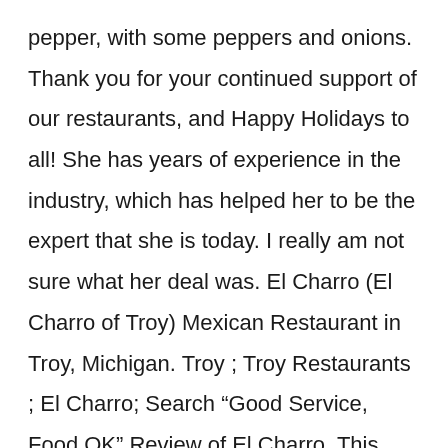pepper, with some peppers and onions. Thank you for your continued support of our restaurants, and Happy Holidays to all! She has years of experience in the industry, which has helped her to be the expert that she is today. I really am not sure what her deal was. El Charro (El Charro of Troy) Mexican Restaurant in Troy, Michigan. Troy ; Troy Restaurants ; El Charro; Search “Good Service, Food OK” Review of El Charro. This area also offers some authentic Mexican restaurants as well, so I don’t see any reason why we go back to this restaurant again. We placed a carry out order and picked it up. El-Charro-Troy. Sunday - Thursday: 11:00 AM - 08:15 PMFriday - Saturday: 11:00 AM - 09:15 PM $ • Salads • Desserts •